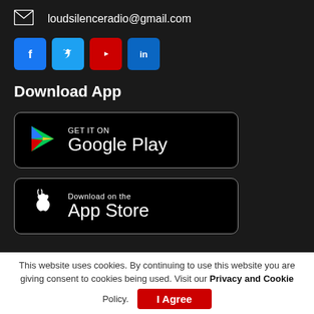loudsilenceradio@gmail.com
[Figure (infographic): Social media icon buttons: Facebook (blue), Twitter (light blue), YouTube (red), LinkedIn (blue)]
Download App
[Figure (infographic): Google Play Store download button badge with Play triangle logo and text 'GET IT ON Google Play']
[Figure (infographic): Apple App Store download button badge with Apple logo and text 'Download on the App Store']
This website uses cookies. By continuing to use this website you are giving consent to cookies being used. Visit our Privacy and Cookie Policy.
[Figure (infographic): Red 'I Agree' button for cookie consent]